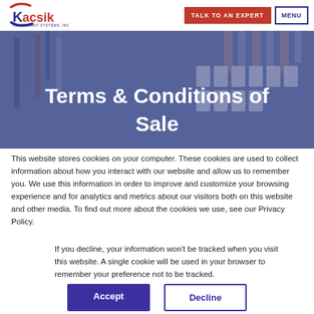[Figure (logo): Kacsik Instrument Systems, Inc. logo with stylized K and swooshes in blue/red]
[Figure (screenshot): Navigation bar with TALK TO AN EXPERT red button and MENU outlined button]
[Figure (photo): Hero image showing electrical panel with wiring and circuit breakers, blue-purple tint overlay]
Terms & Conditions of Sale
This website stores cookies on your computer. These cookies are used to collect information about how you interact with our website and allow us to remember you. We use this information in order to improve and customize your browsing experience and for analytics and metrics about our visitors both on this website and other media. To find out more about the cookies we use, see our Privacy Policy.
If you decline, your information won't be tracked when you visit this website. A single cookie will be used in your browser to remember your preference not to be tracked.